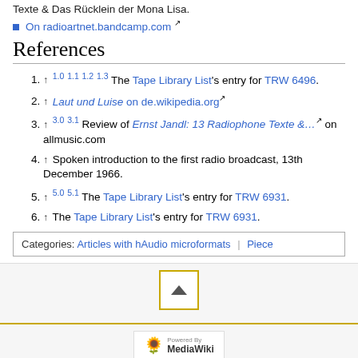Texte & Das Rücklein der Mona Lisa.
On radioartnet.bandcamp.com
References
1. ↑ 1.0 1.1 1.2 1.3 The Tape Library List's entry for TRW 6496.
2. ↑ Laut und Luise on de.wikipedia.org
3. ↑ 3.0 3.1 Review of Ernst Jandl: 13 Radiophone Texte &... on allmusic.com
4. ↑ Spoken introduction to the first radio broadcast, 13th December 1966.
5. ↑ 5.0 5.1 The Tape Library List's entry for TRW 6931.
6. ↑ The Tape Library List's entry for TRW 6931.
Categories: Articles with hAudio microformats | Piece
Privacy policy  About WikiDelia  Disclaimers